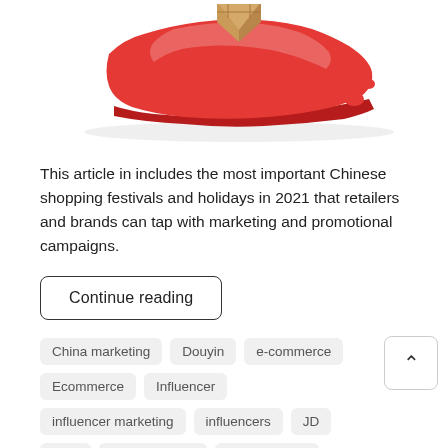[Figure (illustration): 3D red map of China with a cardboard delivery box on top, on white background]
This article in includes the most important Chinese shopping festivals and holidays in 2021 that retailers and brands can tap with marketing and promotional campaigns.
Continue reading
China marketing
Douyin
e-commerce
Ecommerce
Influencer
influencer marketing
influencers
JD
KOL
live-streaming
livestreaming